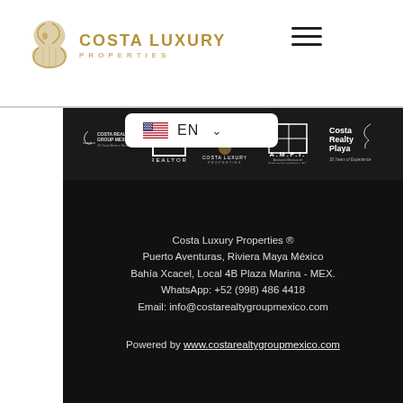[Figure (logo): Costa Luxury Properties logo with golden seahorse/knight icon and brand name in gold text]
[Figure (screenshot): Navigation hamburger menu icon (three horizontal lines)]
[Figure (screenshot): Language selector showing US flag with EN text and dropdown chevron]
[Figure (logo): Bar of partner logos: Costa Realty Group Mexico, REALTOR R logo, Costa Luxury Properties, A.M.P.I., Costa Realty Playa 30 Years of Experience]
Costa Luxury Properties ®
Puerto Aventuras, Riviera Maya México
Bahía Xcacel, Local 4B Plaza Marina - MEX.
WhatsApp: +52 (998) 486 4418
Email: info@costarealtygroupmexico.com
Powered by www.costarealtygroupmexico.com